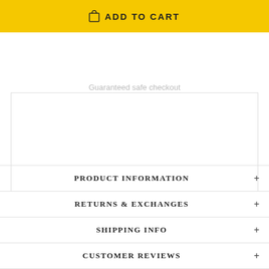ADD TO CART
Guaranteed safe checkout
PRODUCT INFORMATION
RETURNS & EXCHANGES
SHIPPING INFO
CUSTOMER REVIEWS